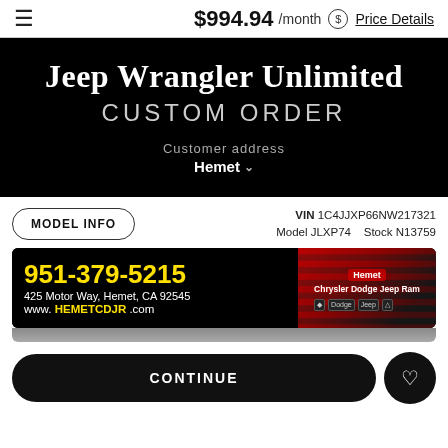$994.94 /month Price Details
Jeep Wrangler Unlimited CUSTOM ORDER
Customer address Hemet
MODEL INFO  VIN 1C4JJXP66NW217321  Model JLXP74  Stock N13759
[Figure (photo): Hemet Chrysler Dodge Jeep Ram dealer banner showing phone number 951-379-5215, address 425 Motor Way, Hemet, CA 92545, website www.HEMETCDJR.com, and dealer logo with brand logos for Chrysler, Dodge, Jeep, Ram on a red and black background with American flag]
CONTINUE